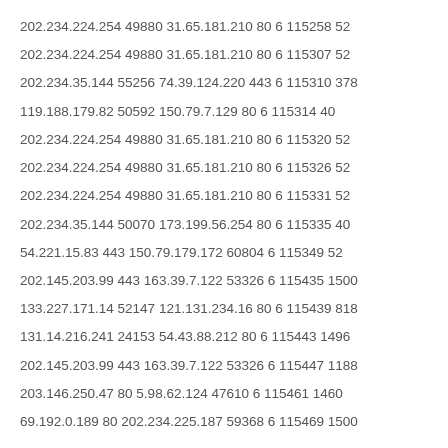202.234.224.254 49880 31.65.181.210 80 6 115258 52
202.234.224.254 49880 31.65.181.210 80 6 115307 52
202.234.35.144 55256 74.39.124.220 443 6 115310 378
119.188.179.82 50592 150.79.7.129 80 6 115314 40
202.234.224.254 49880 31.65.181.210 80 6 115320 52
202.234.224.254 49880 31.65.181.210 80 6 115326 52
202.234.224.254 49880 31.65.181.210 80 6 115331 52
202.234.35.144 50070 173.199.56.254 80 6 115335 40
54.221.15.83 443 150.79.179.172 60804 6 115349 52
202.145.203.99 443 163.39.7.122 53326 6 115435 1500
133.227.171.14 52147 121.131.234.16 80 6 115439 818
131.14.216.241 24153 54.43.88.212 80 6 115443 1496
202.145.203.99 443 163.39.7.122 53326 6 115447 1188
203.146.250.47 80 5.98.62.124 47610 6 115461 1460
69.192.0.189 80 202.234.225.187 59368 6 115469 1500